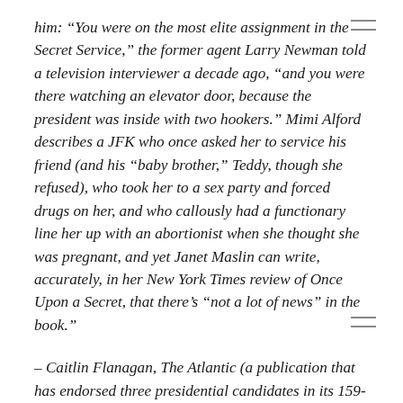him: “You were on the most elite assignment in the Secret Service,” the former agent Larry Newman told a television interviewer a decade ago, “and you were there watching an elevator door, because the president was inside with two hookers.” Mimi Alford describes a JFK who once asked her to service his friend (and his “baby brother,” Teddy, though she refused), who took her to a sex party and forced drugs on her, and who callously had a functionary line her up with an abortionist when she thought she was pregnant, and yet Janet Maslin can write, accurately, in her New York Times review of Once Upon a Secret, that there’s “not a lot of news” in the book.”
– Caitlin Flanagan, The Atlantic (a publication that has endorsed three presidential candidates in its 159-year history: Abraham Lincoln, Lyndon Johnson and